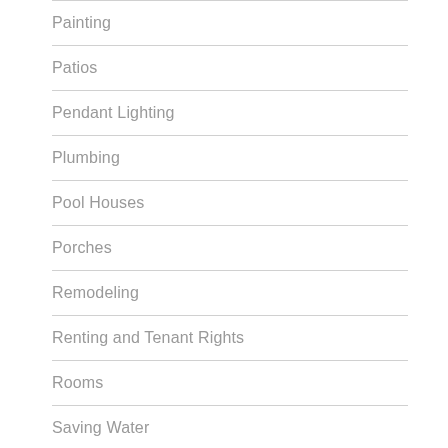Painting
Patios
Pendant Lighting
Plumbing
Pool Houses
Porches
Remodeling
Renting and Tenant Rights
Rooms
Saving Water
Small Bathroom